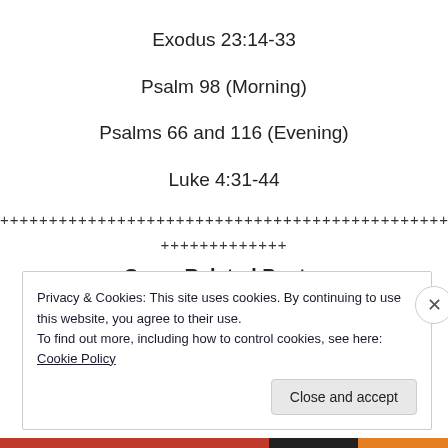Exodus 23:14-33
Psalm 98 (Morning)
Psalms 66 and 116 (Evening)
Luke 4:31-44
+++++++++++++++++++++++++++++++++++++++++++++++++++++
+++++++++++++
Some Related Posts:
Privacy & Cookies: This site uses cookies. By continuing to use this website, you agree to their use.
To find out more, including how to control cookies, see here: Cookie Policy
Close and accept